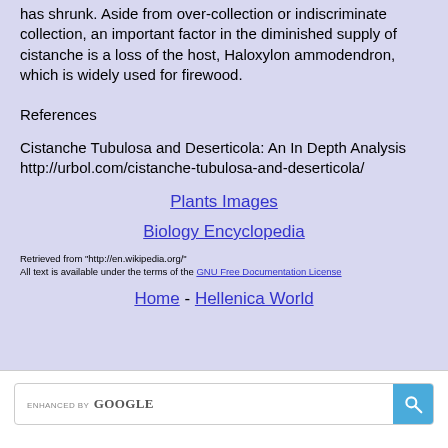has shrunk. Aside from over-collection or indiscriminate collection, an important factor in the diminished supply of cistanche is a loss of the host, Haloxylon ammodendron, which is widely used for firewood.
References
Cistanche Tubulosa and Deserticola: An In Depth Analysis http://urbol.com/cistanche-tubulosa-and-deserticola/
Plants Images
Biology Encyclopedia
Retrieved from "http://en.wikipedia.org/" All text is available under the terms of the GNU Free Documentation License
Home - Hellenica World
[Figure (screenshot): Google search bar with ENHANCED BY Google label and blue search button]